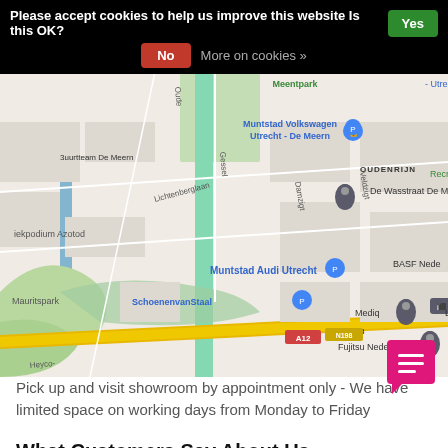Please accept cookies to help us improve this website Is this OK? Yes | No | More on cookies »
[Figure (map): Google Maps screenshot showing area around De Wasstraat De Meern, Utrecht, Netherlands. Visible labels include: Meentpark, Muntstad Volkswagen Utrecht - De Meern, Buurtteam De Meern, OUDENRIJN, De Wasstraat De Meern, Recre, Lichtenberglaan, Gessel, Damzigt, Veldzigt, iekpodium Azotod, Muntstad Audi Utrecht, BASF Nede, Mauritspark, SchoenenvanStaal, Mediq, LINKIT, Fujitsu Nederland, N198, A12, Heyco-]
Pick up and visit showroom by appointment only - We have limited space on working days from Monday to Friday
What Customers Say About Us
[Figure (logo): Valued logo with pink arc/circle graphic and bold text 'Valued'. Customer reviews label visible on the right.]